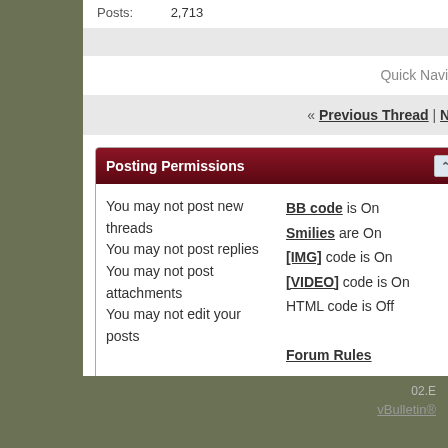Posts:  2,713
Quick Navigation
« Previous Thread | Next Thread»
Posting Permissions
You may not post new threads
You may not post replies
You may not post attachments
You may not edit your posts
BB code is On
Smilies are On
[IMG] code is On
[VIDEO] code is On
HTML code is Off
Forum Rules
-- KWAS Simple
vBulletin®